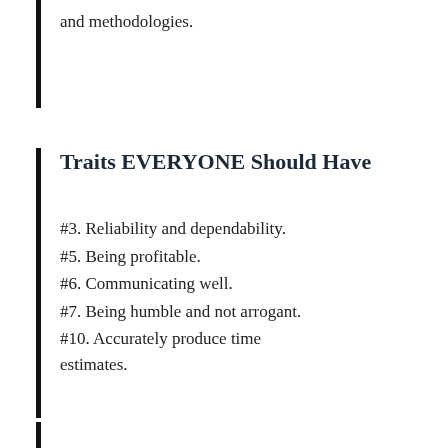and methodologies.
Traits EVERYONE Should Have
#3. Reliability and dependability.
#5. Being profitable.
#6. Communicating well.
#7. Being humble and not arrogant.
#10. Accurately produce time estimates.